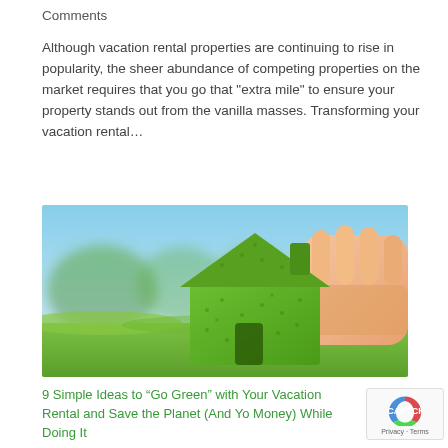Comments
Although vacation rental properties are continuing to rise in popularity, the sheer abundance of competing properties on the market requires that you go that "extra mile" to ensure your property stands out from the vanilla masses. Transforming your vacation rental...
[Figure (photo): A hand holding a green grass-covered house cutout in front of green blurred background with grass]
9 Simple Ideas to “Go Green” with Your Vacation Rental and Save the Planet (And Your Money) While Doing It